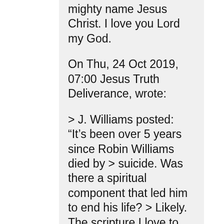mighty name Jesus Christ. I love you Lord my God.
On Thu, 24 Oct 2019, 07:00 Jesus Truth Deliverance, wrote:
> J. Williams posted: “It’s been over 5 years since Robin Williams died by > suicide. Was there a spiritual component that led him to end his life? > Likely. The scripture I love to emphasize is “For we wrestle not against > flesh and blood, but